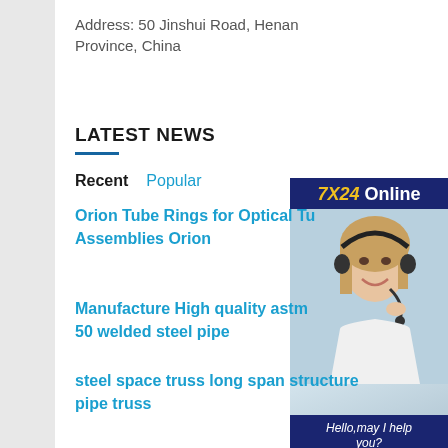Address: 50 Jinshui Road, Henan Province, China
LATEST NEWS
Recent   Popular
[Figure (photo): Online customer service advertisement banner with '7X24 Online' header, photo of smiling woman with headset, 'Hello,may I help you?' text, and 'Get Latest Price' button]
Orion Tube Rings for Optical Tu Assemblies Orion
Manufacture High quality astm 50 welded steel pipe
steel space truss long span structure pipe truss
steel water pipe sizes pipe size chart fencing steel pipe